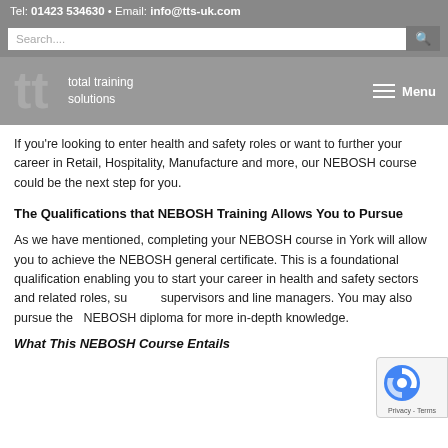Tel: 01423 534630 • Email: info@tts-uk.com
[Figure (screenshot): Search bar with magnifying glass icon on grey background]
[Figure (logo): Total Training Solutions logo with stylized 'tt' icon and text 'total training solutions' with Menu button]
If you're looking to enter health and safety roles or want to further your career in Retail, Hospitality, Manufacture and more, our NEBOSH course could be the next step for you.
The Qualifications that NEBOSH Training Allows You to Pursue
As we have mentioned, completing your NEBOSH course in York will allow you to achieve the NEBOSH general certificate. This is a foundational qualification enabling you to start your career in health and safety sectors and related roles, such as supervisors and line managers. You may also pursue the NEBOSH diploma for more in-depth knowledge.
What This NEBOSH Course Entails